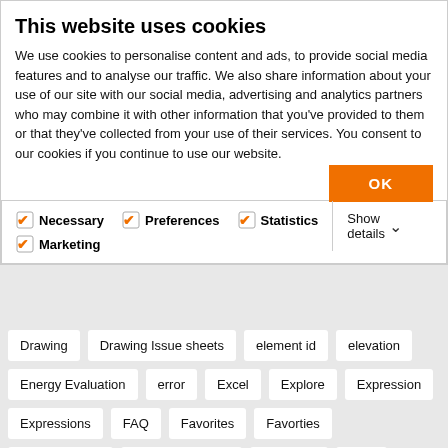This website uses cookies
We use cookies to personalise content and ads, to provide social media features and to analyse our traffic. We also share information about your use of our site with our social media, advertising and analytics partners who may combine it with other information that you've provided to them or that they've collected from your use of their services. You consent to our cookies if you continue to use our website.
OK
Necessary  Preferences  Statistics  Marketing  Show details
Drawing
Drawing Issue sheets
element id
elevation
Energy Evaluation
error
Excel
Explore
Expression
Expressions
FAQ
Favorites
Favorties
Fixing bracket
flipping drawings
Floorplan
GDL